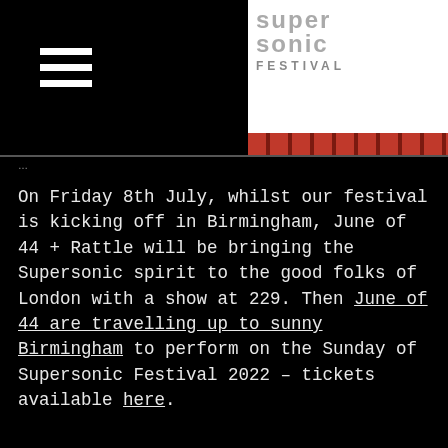[Figure (logo): Supersonic Festival logo in top right corner with stylized text 'supersonic FESTIVAL' and red patterned stripe]
On Friday 8th July, whilst our festival is kicking off in Birmingham, June of 44 + Rattle will be bringing the Supersonic spirit to the good folks of London with a show at 229. Then June of 44 are travelling up to sunny Birmingham to perform on the Sunday of Supersonic Festival 2022 – tickets available here.
SHARE:
BUY TICKETS